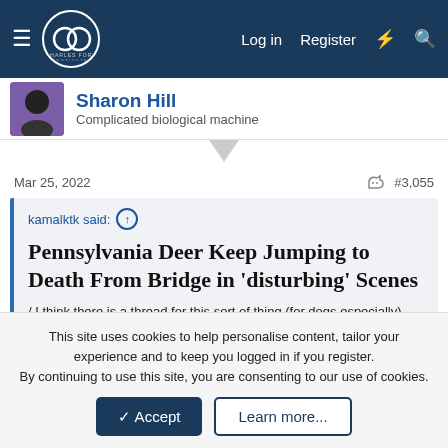Charles Fort Institute — Log in | Register
Sharon Hill
Complicated biological machine
Mar 25, 2022   #3,055
kamalktk said: ↑

Pennsylvania Deer Keep Jumping to Death From Bridge in 'disturbing' Scenes

/ I think there is a thread for this sort of thing (for dogs especially), but cant find it.

Click to expand...
This site uses cookies to help personalise content, tailor your experience and to keep you logged in if you register.
By continuing to use this site, you are consenting to our use of cookies.
[Accept] [Learn more...]